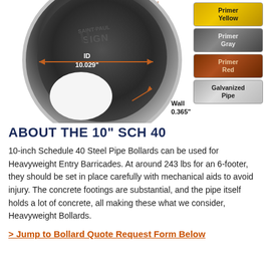[Figure (engineering-diagram): Cross-section diagram of a 10-inch Schedule 40 steel pipe bollard showing inner diameter labeled ID 10.029 inches with a double-headed orange arrow, and wall thickness labeled Wall 0.365 inches. The pipe is shown from the top at an angle, with Saint Paul Sign branding visible. To the right are four finish swatches: Primer Yellow, Primer Gray, Primer Red, and Galvanized Pipe.]
ABOUT THE 10" SCH 40
10-inch Schedule 40 Steel Pipe Bollards can be used for Heavyweight Entry Barricades. At around 243 lbs for an 6-footer, they should be set in place carefully with mechanical aids to avoid injury. The concrete footings are substantial, and the pipe itself holds a lot of concrete, all making these what we consider, Heavyweight Bollards.
> Jump to Bollard Quote Request Form Below